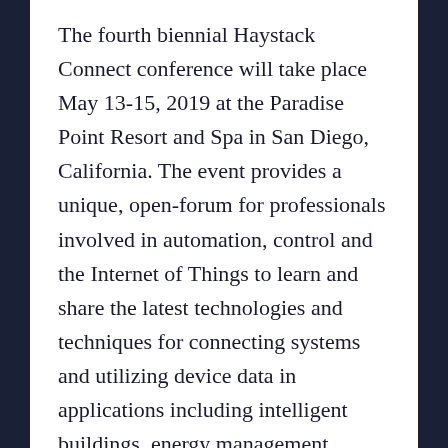The fourth biennial Haystack Connect conference will take place May 13-15, 2019 at the Paradise Point Resort and Spa in San Diego, California. The event provides a unique, open-forum for professionals involved in automation, control and the Internet of Things to learn and share the latest technologies and techniques for connecting systems and utilizing device data in applications including intelligent buildings, energy management, remote monitoring, and other IoT devices and applications.
Haystack Connect 2019 sponsorship offers